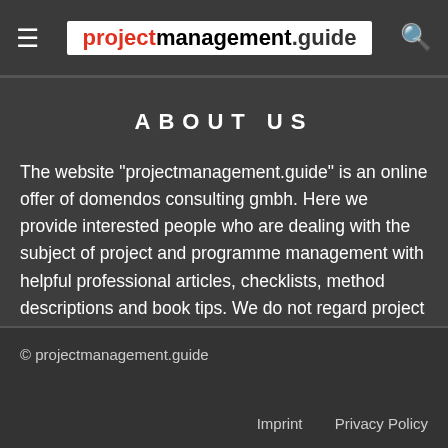projectmanagement.guide
ABOUT US
The website "projectmanagement.guide" is an online offer of domendos consulting gmbh. Here we provide interested people who are dealing with the subject of project and programme management with helpful professional articles, checklists, method descriptions and book tips. We do not regard project management as a secret science and are happy to pass on our know-how in this form.
© projectmanagement.guide
Imprint    Privacy Policy